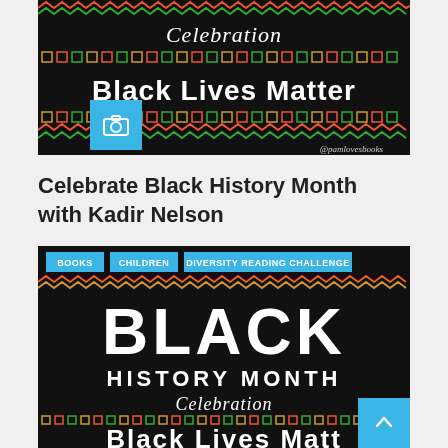[Figure (illustration): Black background decorative image with text 'Celebration Black Lives Matter' in white, with colorful African-inspired geometric border patterns in red, green, yellow and 'pamlovesbooks' watermark, with a blue camera icon overlay]
Celebrate Black History Month with Kadir Nelson
[Figure (illustration): Black background decorative image with large white bold text 'BLACK HISTORY MONTH Celebration Black Lives Matter' with colorful African-inspired geometric border patterns and category tags: BOOKS, CHILDREN, DIVERSITY READING CHALLENGE in blue]